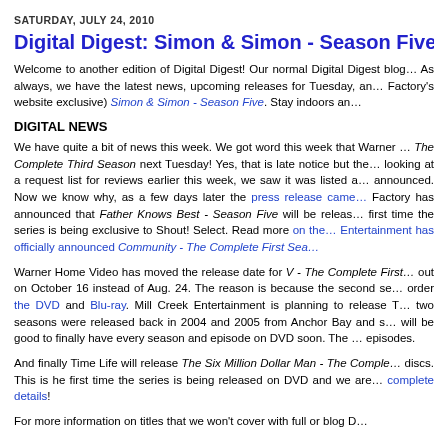SATURDAY, JULY 24, 2010
Digital Digest: Simon & Simon - Season Five DVD Rev…
Welcome to another edition of Digital Digest! Our normal Digital Digest blog… As always, we have the latest news, upcoming releases for Tuesday, an… Factory's website exclusive) Simon & Simon - Season Five. Stay indoors an…
DIGITAL NEWS
We have quite a bit of news this week. We got word this week that Warner … The Complete Third Season next Tuesday! Yes, that is late notice but the… looking at a request list for reviews earlier this week, we saw it was listed a… announced. Now we know why, as a few days later the press release came … Factory has announced that Father Knows Best - Season Five will be releas… first time the series is being exclusive to Shout! Select. Read more on the… Entertainment has officially announced Community - The Complete First Sea…
Warner Home Video has moved the release date for V - The Complete First … out on October 16 instead of Aug. 24. The reason is because the second se… order the DVD and Blu-ray. Mill Creek Entertainment is planning to release T… two seasons were released back in 2004 and 2005 from Anchor Bay and s… will be good to finally have every season and episode on DVD soon. The … episodes.
And finally Time Life will release The Six Million Dollar Man - The Comple… discs. This is he first time the series is being released on DVD and we are… complete details!
For more information on titles that we won't cover with full or blog D…